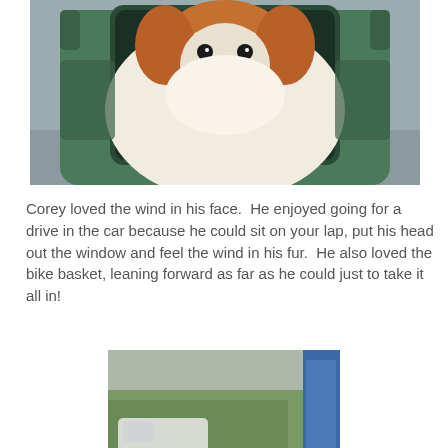[Figure (photo): A fluffy brown and white Pomeranian dog looking out from a green pet carrier bag, taken from outside looking in through the mesh window opening.]
Corey loved the wind in his face.  He enjoyed going for a drive in the car because he could sit on your lap, put his head out the window and feel the wind in his fur.  He also loved the bike basket, leaning forward as far as he could just to take it all in!
[Figure (photo): A small brown and white Pomeranian dog leaning forward with head out of a car window, trees and a passing white van visible in the blurry background through the car window.]